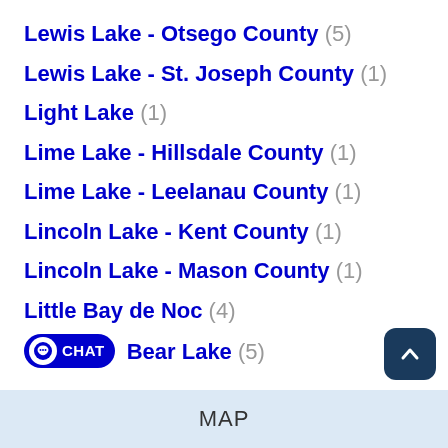Lewis Lake - Otsego County (5)
Lewis Lake - St. Joseph County (1)
Light Lake (1)
Lime Lake - Hillsdale County (1)
Lime Lake - Leelanau County (1)
Lincoln Lake - Kent County (1)
Lincoln Lake - Mason County (1)
Little Bay de Noc (4)
Bear Lake (5)
MAP